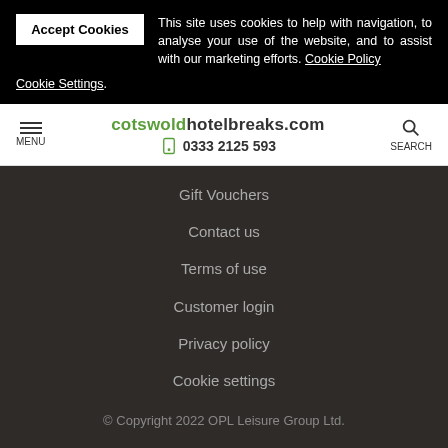This site uses cookies to help with navigation, to analyse your use of the website, and to assist with our marketing efforts. Cookie Policy Cookie Settings.
cotswoldhotelbreaks.com 0333 2125 593
Gift Vouchers
Contact us
Terms of use
Customer login
Privacy policy
Cookie settings
© Copyright 2022 OPL Leisure Group Ltd.